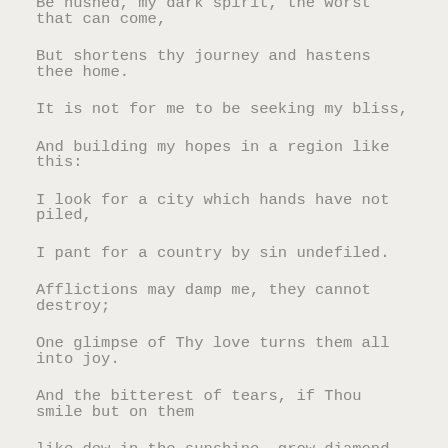Be hushed, my dark spirit, the worst that can come,
But shortens thy journey and hastens thee home.
It is not for me to be seeking my bliss,
And building my hopes in a region like this:
I look for a city which hands have not piled,
I pant for a country by sin undefiled.
Afflictions may damp me, they cannot destroy;
One glimpse of Thy love turns them all into joy.
And the bitterest of tears, if Thou smile but on them
like dew in the sunshine, grow diamond and gem.
Let doubt then, and danger, my progress oppose;